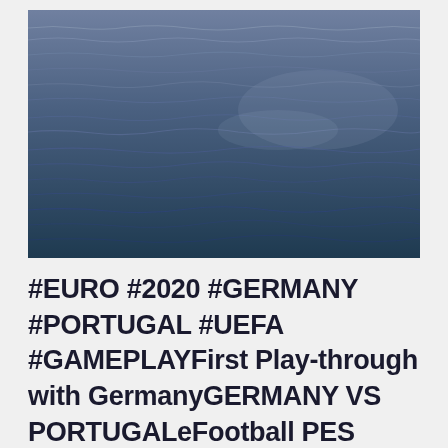[Figure (photo): Aerial or close-up photograph of dark blue ocean water with gentle waves and ripples]
#EURO #2020 #GERMANY #PORTUGAL #UEFA #GAMEPLAYFirst Play-through with GermanyGERMANY VS PORTUGALeFootball PES 2021PS4 GameplayUEFA EURO 2020GROUP STAGE